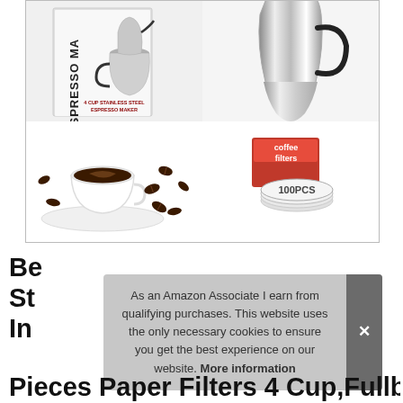[Figure (photo): Product collage showing four quadrants: top-left is an espresso maker box labeled 'ESPRESSO MA... 4 CUP STAINLESS STEEL ESPRESSO MAKER', top-right is a close-up of a stainless steel moka pot body, bottom-left is a white espresso cup with saucer surrounded by coffee beans, bottom-right is a package of coffee filters labeled '100PCS'.]
Best Stainless Steel Espresso Maker Including 100 Pieces Paper Filters 4 Cup,Fullbody
As an Amazon Associate I earn from qualifying purchases. This website uses the only necessary cookies to ensure you get the best experience on our website. More information